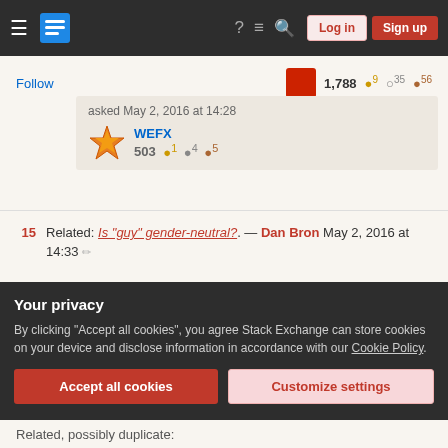Stack Exchange navigation bar with hamburger menu, logo, help, chat, search icons, Log in and Sign up buttons
Follow   1,788  ●9  ○35  ●56
asked May 2, 2016 at 14:28  WEFX  503  ●1  ●4  ●5
15  Related: Is "guy" gender-neutral?. — Dan Bron May 2, 2016 at 14:33 ✏
3  "all" does not seem strange to me, usually when I write an e-mail that is addressed to several people I use "all" or the name of their team/entity/organization, if it's addressed to one or two and the rest are just in copy I call them by name
Your privacy
By clicking "Accept all cookies", you agree Stack Exchange can store cookies on your device and disclose information in accordance with our Cookie Policy.
Accept all cookies   Customize settings
Related, possibly duplicate: